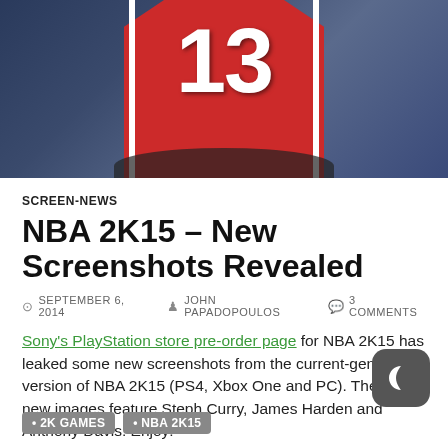[Figure (photo): NBA player wearing Houston Rockets red jersey number 13, viewed from behind, with crowd in background]
SCREEN-NEWS
NBA 2K15 – New Screenshots Revealed
SEPTEMBER 6, 2014   JOHN PAPADOPOULOS   3 COMMENTS
Sony's PlayStation store pre-order page for NBA 2K15 has leaked some new screenshots from the current-gen version of NBA 2K15 (PS4, Xbox One and PC). These new images feature Steph Curry, James Harden and Anthony Davis. Enjoy!
Continue reading →
2K GAMES
NBA 2K15